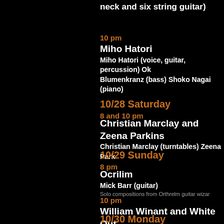neck and six string guitar)
10 pm
Miho Hatori
Miho Hatori (voice, guitar, percussion) Ok
Blumenkranz (bass) Shoko Nagai (piano)
10/28 Saturday
8 and 10 pm
Christian Marclay and Zeena Parkins
Christian Marclay (turntables) Zeena Park
10/29 Sunday
8 pm
Ocrilim
Mick Barr (guitar)
Solo compositions from Orthrelm guitar wizar
10 pm
William Winant and White Out
Lin Culbertson (electronics) Tom Surgal (p
10/30 Monday